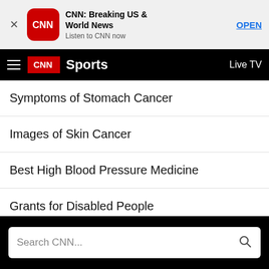[Figure (screenshot): CNN app install banner with close button, CNN logo, app name 'CNN: Breaking US & World News', subtitle 'Listen to CNN now', and OPEN button]
CNN Sports  Live TV
Symptoms of Stomach Cancer
Images of Skin Cancer
Best High Blood Pressure Medicine
Grants for Disabled People
Early Stages of Aphasia
Search CNN...